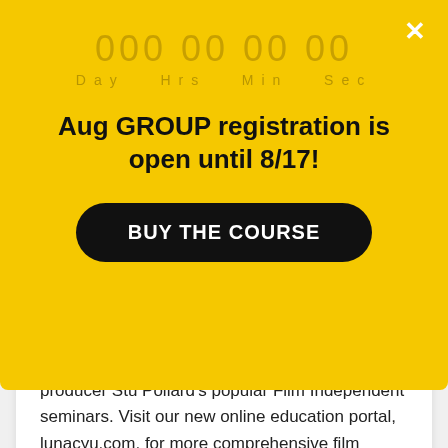000 00 00 00
Day  Hrs  Min  Sec
Aug GROUP registration is open until 8/17!
BUY THE COURSE
producer Stu Pollard's popular Film Independent seminars. Visit our new online education portal, lunacyu.com, for more comprehensive film production and financing resources! When it comes to raising money, consider the long game....
Read More
Stu Pollard